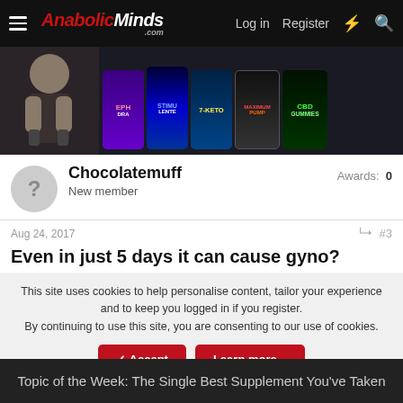AnabolicMinds.com — Log in  Register
[Figure (screenshot): Banner advertisement showing fitness products: Ephedra, Stimulente, 7-Keto, Maximum Pump, CBD Gummies]
Chocolatemuff
New member
Awards: 0
Aug 24, 2017  #3
Even in just 5 days it can cause gyno?
This site uses cookies to help personalise content, tailor your experience and to keep you logged in if you register.
By continuing to use this site, you are consenting to our use of cookies.
Accept  Learn more...
Topic of the Week: The Single Best Supplement You've Taken